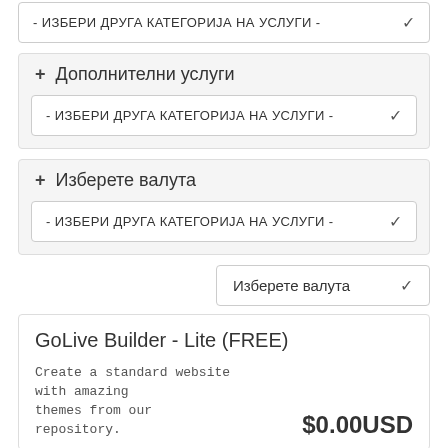- ИЗБЕРИ ДРУГА КАТЕГОРИЈА НА УСЛУГИ -
+ Дополнителни услуги
- ИЗБЕРИ ДРУГА КАТЕГОРИЈА НА УСЛУГИ -
+ Изберете валута
- ИЗБЕРИ ДРУГА КАТЕГОРИЈА НА УСЛУГИ -
Изберете валута
GoLive Builder - Lite (FREE)
Create a standard website with amazing themes from our repository.
$0.00USD